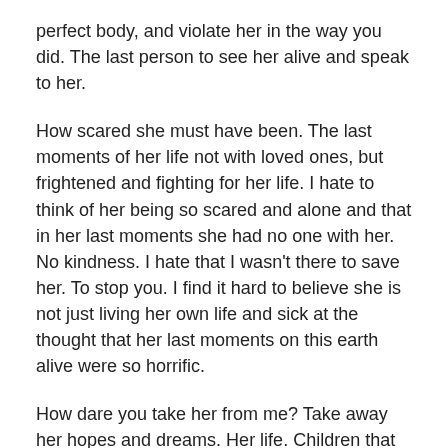perfect body, and violate her in the way you did. The last person to see her alive and speak to her.
How scared she must have been. The last moments of her life not with loved ones, but frightened and fighting for her life. I hate to think of her being so scared and alone and that in her last moments she had no one with her. No kindness. I hate that I wasn't there to save her. To stop you. I find it hard to believe she is not just living her own life and sick at the thought that her last moments on this earth alive were so horrific.
How dare you take her from me? Take away her hopes and dreams. Her life. Children that will never be born.